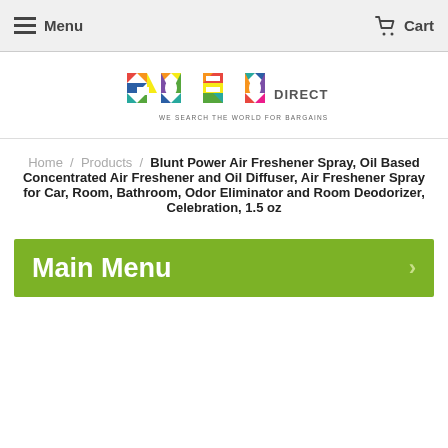Menu   Cart
[Figure (logo): GOSO DIRECT logo with colorful geometric letters and tagline 'WE SEARCH THE WORLD FOR BARGAINS']
Home / Products / Blunt Power Air Freshener Spray, Oil Based Concentrated Air Freshener and Oil Diffuser, Air Freshener Spray for Car, Room, Bathroom, Odor Eliminator and Room Deodorizer, Celebration, 1.5 oz
Main Menu